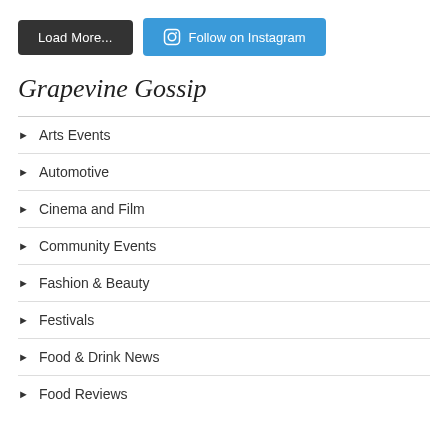[Figure (screenshot): Two buttons: 'Load More...' (dark gray) and 'Follow on Instagram' (blue with Instagram icon)]
Grapevine Gossip
Arts Events
Automotive
Cinema and Film
Community Events
Fashion & Beauty
Festivals
Food & Drink News
Food Reviews